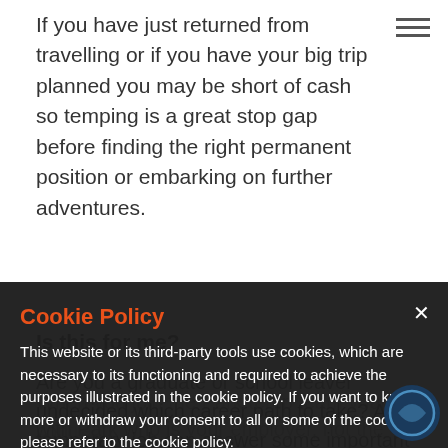If you have just returned from travelling or if you have your big trip planned you may be short of cash so temping is a great stop gap before finding the right permanent position or embarking on further adventures.
Is this for me?
Are you a graduate or school leaver undecided which career path to take? A temporary job can answer some important questions before you take the plunge.
Cookie Policy
This website or its third-party tools use cookies, which are necessary to its functioning and required to achieve the purposes illustrated in the cookie policy. If you want to know more or withdraw your consent to all or some of the cookies, please refer to the cookie policy.
By closing this banner, scrolling this page, clicking a link or continuing to browse otherwise, you agree to the use of cookies.
Who you employer...
When you join the Park temp team your contract is with Park who is your employer, not the client where you are on assignment. We are here to